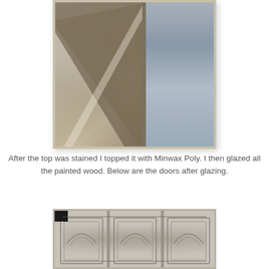[Figure (photo): Close-up photo of a stained wood tabletop with decorative molding trim. The wood surface shows brushstroke texture in warm beige/taupe tones. A dark brown molded edge separates the top from what appears to be a painted white/blue surface below. Watermark reads 'Recaptured Charm'.]
After the top was stained I topped it with Minwax Poly. I then glazed all the painted wood. Below are the doors after glazing.
[Figure (photo): Photo of cabinet doors after glazing. The doors are painted in a light gray/white color with decorative arched raised panel molding. The glazing adds depth to the crevices of the molding. Multiple door panels are visible side by side.]